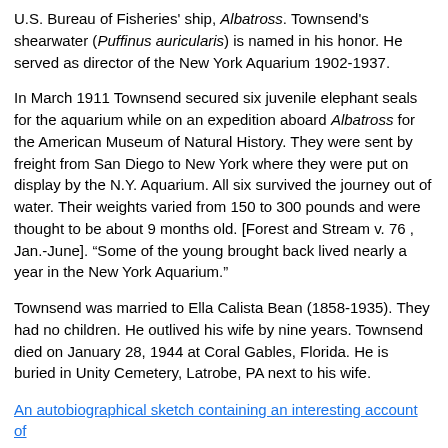U.S. Bureau of Fisheries' ship, Albatross. Townsend's shearwater (Puffinus auricularis) is named in his honor. He served as director of the New York Aquarium 1902-1937.
In March 1911 Townsend secured six juvenile elephant seals for the aquarium while on an expedition aboard Albatross for the American Museum of Natural History. They were sent by freight from San Diego to New York where they were put on display by the N.Y. Aquarium. All six survived the journey out of water. Their weights varied from 150 to 300 pounds and were thought to be about 9 months old. [Forest and Stream v. 76 , Jan.-June]. “Some of the young brought back lived nearly a year in the New York Aquarium.”
Townsend was married to Ella Calista Bean (1858-1935). They had no children. He outlived his wife by nine years. Townsend died on January 28, 1944 at Coral Gables, Florida. He is buried in Unity Cemetery, Latrobe, PA next to his wife.
An autobiographical sketch containing an interesting account of